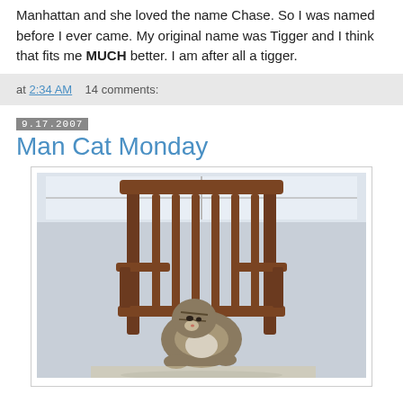Manhattan and she loved the name Chase. So I was named before I ever came. My original name was Tigger and I think that fits me MUCH better. I am after all a tigger.
at 2:34 AM   14 comments:
9.17.2007
Man Cat Monday
[Figure (photo): A tabby cat sitting on a wooden rocking chair, photographed near a window with light coming in from behind.]